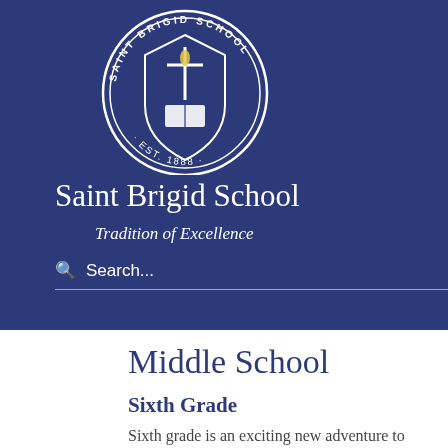[Figure (logo): Saint Brigid School circular crest logo with cross and book, EST. 1888, navy blue and white]
[Figure (photo): Two smiling students in school uniforms outdoors, Saint Brigid School]
[Figure (photo): Close-up of student in dark jacket outdoors]
Saint Brigid School
Tradition of Excellence
Search...
Middle School
Sixth Grade
Sixth grade is an exciting new adventure to